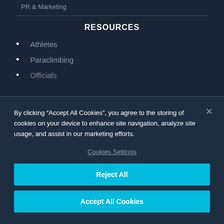PR & Marketing
RESOURCES
Athletes
Paraclimbing
Officials
By clicking “Accept All Cookies”, you agree to the storing of cookies on your device to enhance site navigation, analyze site usage, and assist in our marketing efforts.
Cookies Settings
Reject All
Accept All Cookies